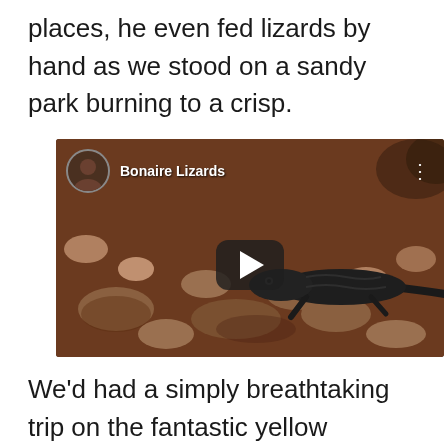places, he even fed lizards by hand as we stood on a sandy park burning to a crisp.
[Figure (screenshot): Embedded video thumbnail showing a lizard on rocky ground with the title 'Bonaire Lizards' and a play button overlay]
We'd had a simply breathtaking trip on the fantastic yellow Unimog and we were really sad when we pulled back into the